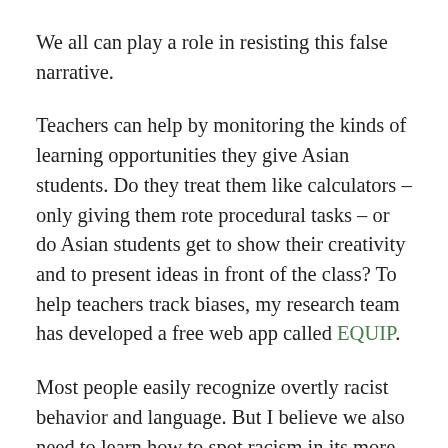We all can play a role in resisting this false narrative.
Teachers can help by monitoring the kinds of learning opportunities they give Asian students. Do they treat them like calculators – only giving them rote procedural tasks – or do Asian students get to show their creativity and to present ideas in front of the class? To help teachers track biases, my research team has developed a free web app called EQUIP.
Most people easily recognize overtly racist behavior and language. But I believe we also need to learn how to spot racism in its more